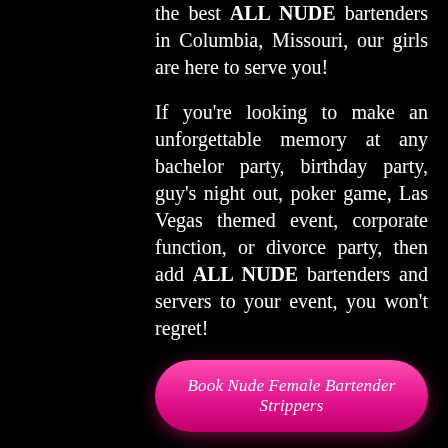the best ALL NUDE bartenders in Columbia, Missouri, our girls are here to serve you!
If you're looking to make an unforgettable memory at any bachelor party, birthday party, guy's night out, poker game, Las Vegas themed event, corporate function, or divorce party, then add ALL NUDE bartenders and servers to your event, you won't regret!
Book Nude Female Bartender Strippers
Bachelor Party
Are you a bachelor, celebrating a bachelor party in Columbia? The